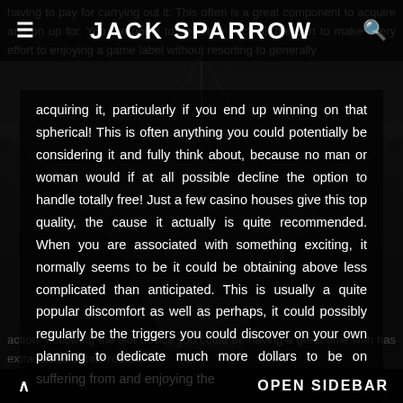JACK SPARROW
acquiring it, particularly if you end up winning on that spherical! This is often anything you could potentially be considering it and fully think about, because no man or woman would if at all possible decline the option to handle totally free! Just a few casino houses give this top quality, the cause it actually is quite recommended. When you are associated with something exciting, it normally seems to be it could be obtaining above less complicated than anticipated. This is usually a quite popular discomfort as well as perhaps, it could possibly regularly be the triggers you could discover on your own planning to dedicate much more dollars to be on suffering from and enjoying the
OPEN SIDEBAR